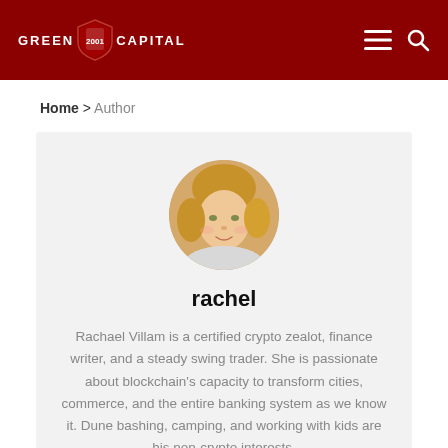GREEN CAPITAL
Home > Author
[Figure (photo): Circular portrait photo of a young blonde woman, the author Rachel Villam]
rachel
Rachael Villam is a certified crypto zealot, finance writer, and a steady swing trader. She is passionate about blockchain's capacity to transform cities, commerce, and the entire banking system as we know it. Dune bashing, camping, and working with kids are his non-crypto interests.